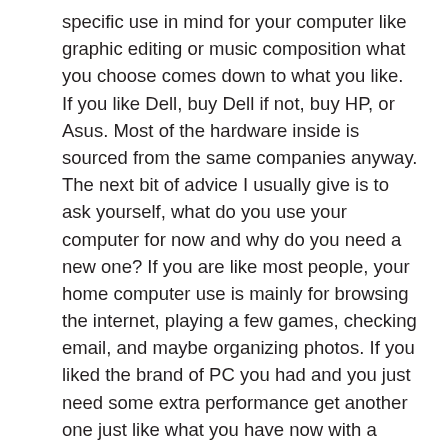specific use in mind for your computer like graphic editing or music composition what you choose comes down to what you like. If you like Dell, buy Dell if not, buy HP, or Asus. Most of the hardware inside is sourced from the same companies anyway. The next bit of advice I usually give is to ask yourself, what do you use your computer for now and why do you need a new one? If you are like most people, your home computer use is mainly for browsing the internet, playing a few games, checking email, and maybe organizing photos. If you liked the brand of PC you had and you just need some extra performance get another one just like what you have now with a faster processor and more RAM and you are all set. If you didn't like the brand you got last time get a different brand. No matter what you get, they all have Windows 8.1... unless you are a Mac like those Apple commercials suggested. In that case just get a new Mac. They upgrade their hardware and OS almost every year.